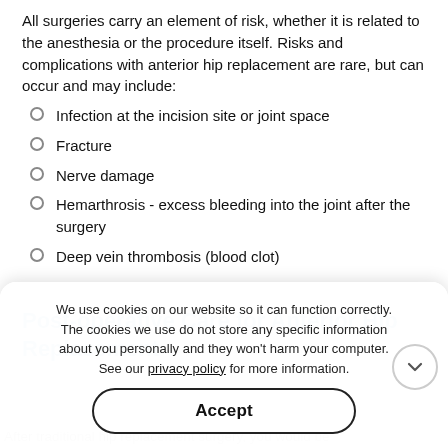All surgeries carry an element of risk, whether it is related to the anesthesia or the procedure itself. Risks and complications with anterior hip replacement are rare, but can occur and may include:
Infection at the incision site or joint space
Fracture
Nerve damage
Hemarthrosis - excess bleeding into the joint after the surgery
Deep vein thrombosis (blood clot)
Post-operative Care for Anterior Hip Replacement
We use cookies on our website so it can function correctly. The cookies we use do not store any specific information about you personally and they won't harm your computer. See our privacy policy for more information.
Accept
After traditional hip replacement surgery, you would be